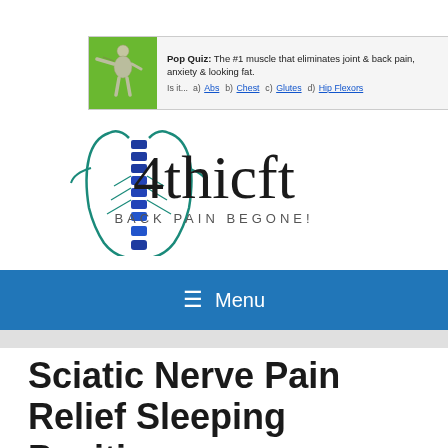[Figure (other): Advertisement banner with anatomy figure on green background. Text: Pop Quiz: The #1 muscle that eliminates joint & back pain, anxiety & looking fat. Is it... a) Abs b) Chest c) Glutes d) Hip Flexors]
[Figure (logo): 4thicft logo with stylized spine illustration in blue/teal and text '4thicft BACK PAIN BEGONE!']
≡ Menu
Sciatic Nerve Pain Relief Sleeping Position